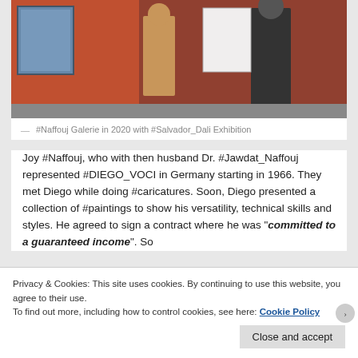[Figure (photo): Photo of people at Naffouj Galerie with Salvador Dali Exhibition artwork on walls in 2020]
— #Naffouj Galerie in 2020 with #Salvador_Dali Exhibition
Joy #Naffouj, who with then husband Dr. #Jawdat_Naffouj represented #DIEGO_VOCI in Germany starting in 1966. They met Diego while doing #caricatures. Soon, Diego presented a collection of #paintings to show his versatility, technical skills and styles. He agreed to sign a contract where he was "committed to a guaranteed income". So
Privacy & Cookies: This site uses cookies. By continuing to use this website, you agree to their use.
To find out more, including how to control cookies, see here: Cookie Policy